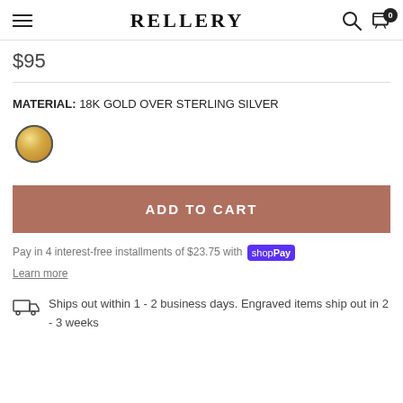RELLERY
$95
MATERIAL: 18K GOLD OVER STERLING SILVER
[Figure (illustration): Gold color swatch circle]
ADD TO CART
Pay in 4 interest-free installments of $23.75 with shop Pay
Learn more
Ships out within 1 - 2 business days. Engraved items ship out in 2 - 3 weeks